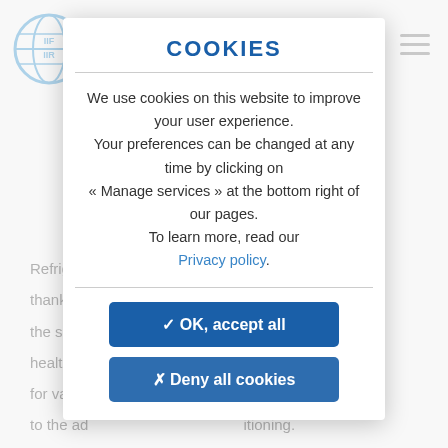[Figure (logo): IIF IIR globe logo in blue]
COOKIES
We use cookies on this website to improve your user experience. Your preferences can be changed at any time by clicking on « Manage services » at the bottom right of our pages. To learn more, read our Privacy policy.
✓ OK, accept all
✗ Deny all cookies